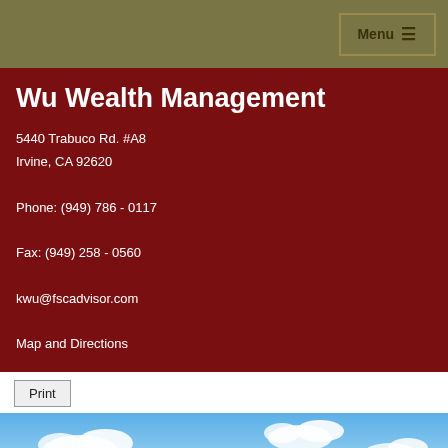Menu ☰
Wu Wealth Management
5440 Trabuco Rd. #A8
Irvine, CA 92620

Phone: (949) 786 - 0117

Fax: (949) 258 - 0560

kwu@fscadvisor.com

Map and Directions
Print
[Figure (photo): Three wicker baskets filled with eggs on a green grassy field with blue sky. Each basket has a label tag: left basket labeled 'CASH ALTERNATIVES', center basket labeled 'FIXED INCOME', right basket labeled 'EQUITIES'.]